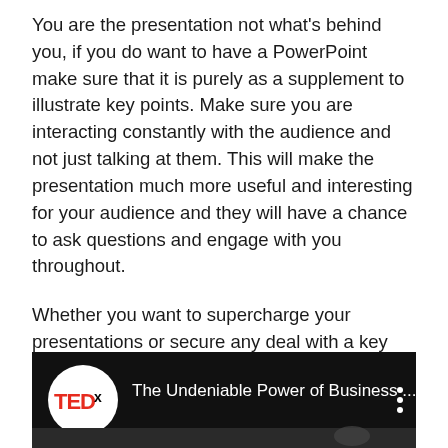You are the presentation not what's behind you, if you do want to have a PowerPoint make sure that it is purely as a supplement to illustrate key points. Make sure you are interacting constantly with the audience and not just talking at them. This will make the presentation much more useful and interesting for your audience and they will have a chance to ask questions and engage with you throughout.
Whether you want to supercharge your presentations or secure any deal with a key stakeholder, Khushboo Nangalia, Founder & CEO of BEYOND99, a Marketing Technology company explains why storytelling in business is a superpower.
[Figure (screenshot): TEDx video thumbnail with red and white TEDx logo on black background, title reading 'The Undeniable Power of Business ...' with vertical three-dot menu icon on the right]